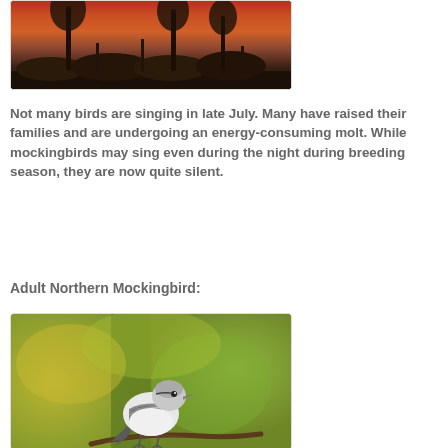[Figure (photo): Sunset landscape photo with silhouetted trees and orange-red sky]
Not many birds are singing in late July. Many have raised their families and are undergoing an energy-consuming molt. While mockingbirds may sing even during the night during breeding season, they are now quite silent.
Adult Northern Mockingbird:
[Figure (photo): Adult Northern Mockingbird perched on a branch against a blurred green and yellow background]